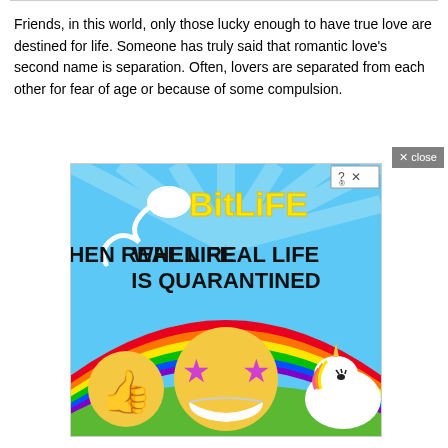Friends, in this world, only those lucky enough to have true love are destined for life. Someone has truly said that romantic love's second name is separation. Often, lovers are separated from each other for fear of age or because of some compulsion.
[Figure (illustration): BitLife advertisement: colorful cartoon ad with sperm icon, 'BitLife' logo in yellow, text 'WHEN REAL LIFE IS QUARANTINED', rainbow, thumbs up emoji, star-eyes emoji wearing mask, and unicorn. Blue sky background with radial rays. Small '?X' close button in top right corner.]